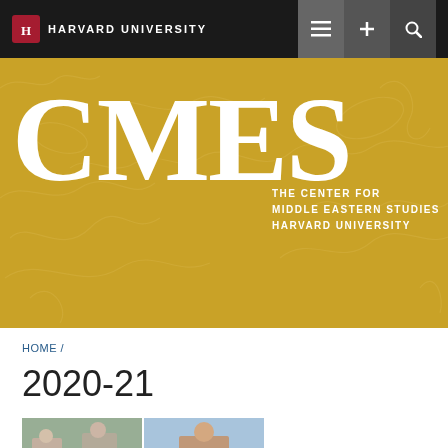HARVARD UNIVERSITY
[Figure (logo): CMES – The Center for Middle Eastern Studies, Harvard University banner with Arabic calligraphy background in gold]
HOME /
2020-21
[Figure (photo): Grid of four video call thumbnails showing participants in an online meeting]